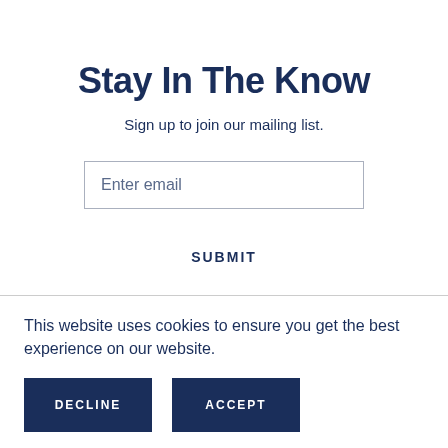Stay In The Know
Sign up to join our mailing list.
Enter email
SUBMIT
This website uses cookies to ensure you get the best experience on our website.
DECLINE
ACCEPT